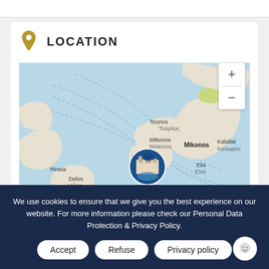LOCATION
[Figure (map): Interactive map centered on Mykonos / Μύκονος island, Greece, showing surrounding locations: Tourios / Τούρλος, Mikonos / Μύκονος, Mikonos (labeled), Kalafati / Καλαφάτι, Elia / Ελιά, Ornos / Ορνός (with hotel photo marker), Rineia, Delos / Δήλος. Includes zoom +/- controls.]
We use cookies to ensure that we give you the best experience on our website. For more information please check our Personal Data Protection & Privacy Policy.
Accept
Refuse
Privacy policy